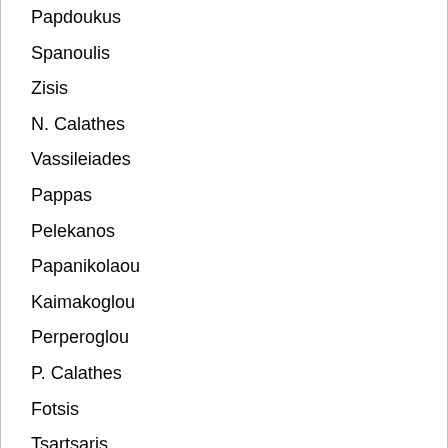Papdoukus
Spanoulis
Zisis
N. Calathes
Vassileiades
Pappas
Pelekanos
Papanikolaou
Kaimakoglou
Perperoglou
P. Calathes
Fotsis
Tsartsaris
Printezis
Mavrokefalides